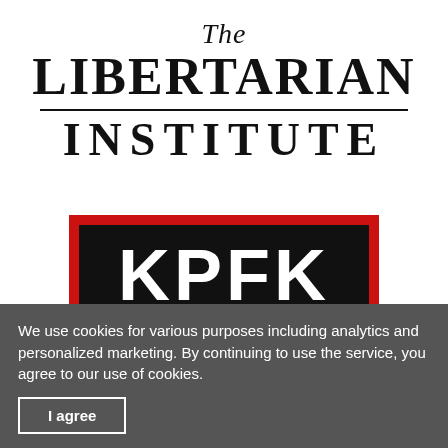[Figure (logo): The Libertarian Institute logo — italic 'The' above, bold uppercase 'LIBERTARIAN' with horizontal rule, then bold spaced 'INSTITUTE']
[Figure (logo): KPFK radio station logo — red background with black panel showing white bold 'KPFK', below '90.7 FM' text and frequency listing: 90.7 FM Los Angeles, 98.7 FM Santa Barbara, 93.7 FM N. San Diego]
We use cookies for various purposes including analytics and personalized marketing. By continuing to use the service, you agree to our use of cookies.
I agree